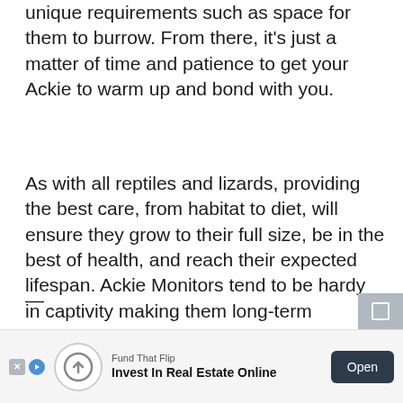unique requirements such as space for them to burrow. From there, it's just a matter of time and patience to get your Ackie to warm up and bond with you.
As with all reptiles and lizards, providing the best care, from habitat to diet, will ensure they grow to their full size, be in the best of health, and reach their expected lifespan. Ackie Monitors tend to be hardy in captivity making them long-term commitment pets since they can live from 15-20 years when cared for properly.
[Figure (other): Advertisement banner: Fund That Flip — Invest In Real Estate Online, with an Open button]